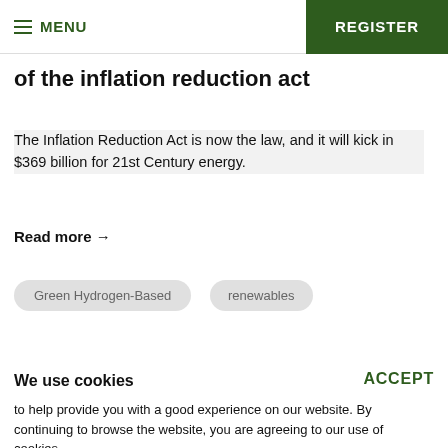MENU | REGISTER
of the inflation reduction act
The Inflation Reduction Act is now the law, and it will kick in $369 billion for 21st Century energy.
Read more →
Green Hydrogen-Based
renewables
We use cookies
ACCEPT
to help provide you with a good experience on our website. By continuing to browse the website, you are agreeing to our use of cookies.